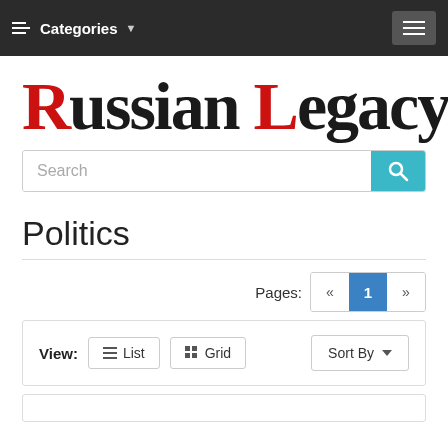Categories  [hamburger menu]
[Figure (logo): Russian Legacy logo — stylized text with red R and red L, black gothic lettering]
Search
Politics
Pages: « 1 »
View: List  Grid    Sort By